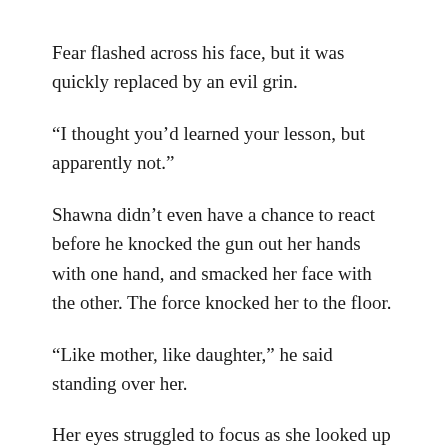Fear flashed across his face, but it was quickly replaced by an evil grin.
“I thought you’d learned your lesson, but apparently not.”
Shawna didn’t even have a chance to react before he knocked the gun out her hands with one hand, and smacked her face with the other. The force knocked her to the floor.
“Like mother, like daughter,” he said standing over her.
Her eyes struggled to focus as she looked up at